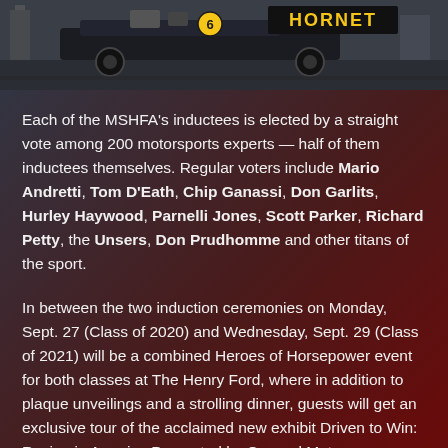[Figure (photo): Racing car with 'HORNET' sign visible in the background, displayed in what appears to be an exhibition or museum setting]
Each of the MSHFA's inductees is elected by a straight vote among 200 motorsports experts — half of them inductees themselves. Regular voters include Mario Andretti, Tom D'Eath, Chip Ganassi, Don Garlits, Hurley Haywood, Parnelli Jones, Scott Parker, Richard Petty, the Unsers, Don Prudhomme and other titans of the sport.
In between the two induction ceremonies on Monday, Sept. 27 (Class of 2020) and Wednesday, Sept. 29 (Class of 2021) will be a combined Heroes of Horsepower event for both classes at The Henry Ford, where in addition to plaque unveilings and a strolling dinner, guests will get an exclusive tour of the acclaimed new exhibit Driven to Win: Racing in America Presented by General Motors.
The event will be held at M1 Concourse as part of American Speed Festival week after five straight induction ceremonies in the MSHFA's new home in Daytona Beach, Fla. The MSHFA